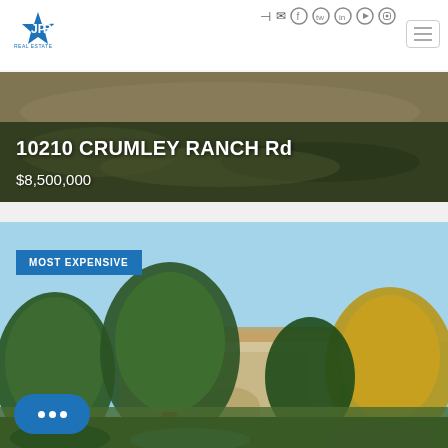[Figure (logo): JPR Real Estate logo - blue star with JP letters]
[Figure (other): Social media icons: login, email, facebook, twitter, linkedin, youtube, instagram]
[Figure (other): Hamburger menu icon (three horizontal lines) in a rounded square button]
[Figure (photo): Aerial or landscape photo of grassy/scrubby terrain with text overlay: '10210 CRUMLEY RANCH Rd' and price '$8,500,000']
10210 CRUMLEY RANCH Rd
$8,500,000
[Figure (photo): Photo of a large estate home visible through trees with 'MOST EXPENSIVE' badge overlay and chat widget at bottom left]
MOST EXPENSIVE